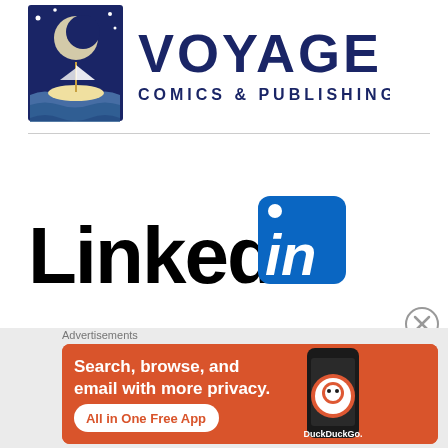[Figure (logo): Voyage Comics & Publishing logo: dark navy blue square with a sailing ship illustration, stars, moon, and water. Text reads VOYAGE in large bold serif letters and COMICS & PUBLISHING in smaller spaced letters.]
[Figure (logo): LinkedIn logo: 'Linked' in large bold black sans-serif text followed by a blue rounded-square icon containing white italic 'in' text with a white dot above.]
[Figure (illustration): Close/dismiss button: circle with X symbol, gray outline.]
Advertisements
[Figure (infographic): DuckDuckGo advertisement banner on orange/red background. Text: 'Search, browse, and email with more privacy. All in One Free App' with a smartphone showing the DuckDuckGo app and DuckDuckGo logo/name.]